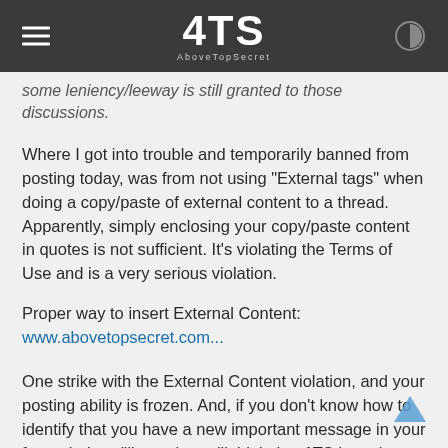AboveTopSecret
some leniency/leeway is still granted to those discussions.
Where I got into trouble and temporarily banned from posting today, was from not using "External tags" when doing a copy/paste of external content to a thread. Apparently, simply enclosing your copy/paste content in quotes is not sufficient. It's violating the Terms of Use and is a very serious violation.
Proper way to insert External Content:
www.abovetopsecret.com...
One strike with the External Content violation, and your posting ability is frozen. And, if you don't know how to identify that you have a new important message in your forum in-box (like me), you'll think that ATS is under attack or something, because the "reply" buttons disappear, and other buttons don't respond to mouse clicks.
Anyway, just a heads-up to newer, or casual forum